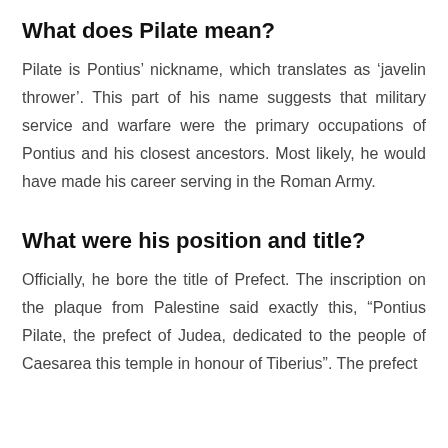What does Pilate mean?
Pilate is Pontius’ nickname, which translates as ‘javelin thrower’. This part of his name suggests that military service and warfare were the primary occupations of Pontius and his closest ancestors. Most likely, he would have made his career serving in the Roman Army.
What were his position and title?
Officially, he bore the title of Prefect. The inscription on the plaque from Palestine said exactly this, “Pontius Pilate, the prefect of Judea, dedicated to the people of Caesarea this temple in honour of Tiberius”. The prefect